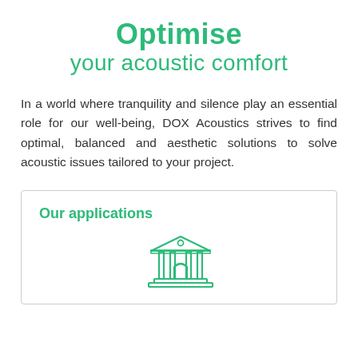Optimise your acoustic comfort
In a world where tranquility and silence play an essential role for our well-being, DOX Acoustics strives to find optimal, balanced and aesthetic solutions to solve acoustic issues tailored to your project.
Our applications
[Figure (illustration): Line-art icon of a classical building with columns and a triangular pediment (government/institution style), rendered in green outline style.]